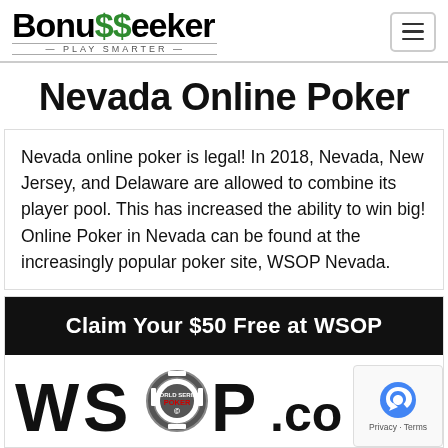BonuSSeeker PLAY SMARTER
Nevada Online Poker
Nevada online poker is legal! In 2018, Nevada, New Jersey, and Delaware are allowed to combine its player pool. This has increased the ability to win big! Online Poker in Nevada can be found at the increasingly popular poker site, WSOP Nevada.
[Figure (infographic): Black banner with white text: Claim Your $50 Free at WSOP]
[Figure (logo): WSOP World Series of Poker logo with text and poker chip graphic]